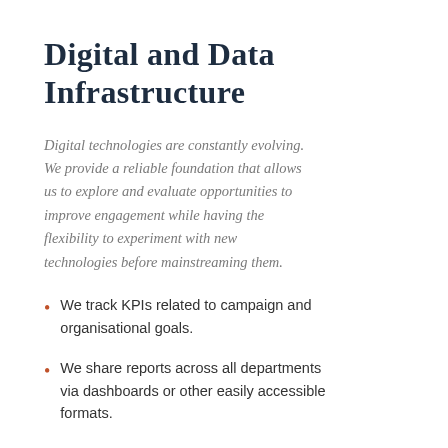Digital and Data Infrastructure
Digital technologies are constantly evolving. We provide a reliable foundation that allows us to explore and evaluate opportunities to improve engagement while having the flexibility to experiment with new technologies before mainstreaming them.
We track KPIs related to campaign and organisational goals.
We share reports across all departments via dashboards or other easily accessible formats.